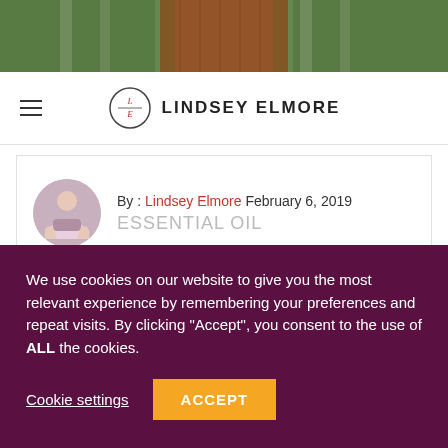[Figure (photo): Hero image of a wooden boardwalk path through green trees/forest]
LINDSEY ELMORE — Navigation header with hamburger menu and logo
By : Lindsey Elmore February 6, 2019
ESSENTIAL OIL
I'M LINDSEY, I MAKE SCIENCE FUN, AND TEACH YOU HOW
We use cookies on our website to give you the most relevant experience by remembering your preferences and repeat visits. By clicking "Accept", you consent to the use of ALL the cookies.
Cookie settings
ACCEPT